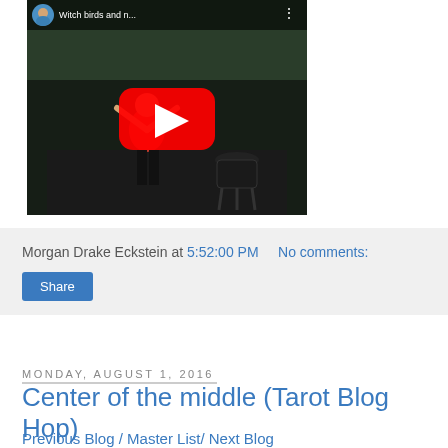[Figure (screenshot): YouTube video thumbnail showing a man in a red t-shirt with arms raised in an outdoor setting with a grill, with a YouTube play button overlay. Title bar shows 'Witch birds and n...' with a small avatar.]
Morgan Drake Eckstein at 5:52:00 PM    No comments:
Share
Monday, August 1, 2016
Center of the middle (Tarot Blog Hop)
Previous Blog / Master List/ Next Blog
In this Tarot Blog Hop, wrangled by Aisling the Bard, we were asked to look at "union of opposites." There were two